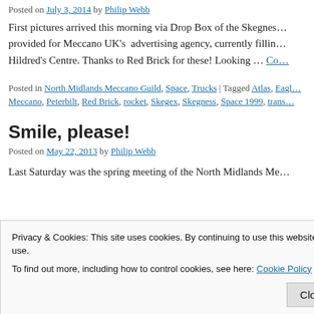Posted on July 3, 2014 by Philip Webb
First pictures arrived this morning via Drop Box of the Skegnes… provided for Meccano UK's advertising agency, currently fillin… Hildred's Centre. Thanks to Red Brick for these! Looking … Co…
Posted in North Midlands Meccano Guild, Space, Trucks | Tagged Atlas, Eagl… Meccano, Peterbilt, Red Brick, rocket, Skegex, Skegness, Space 1999, trans…
Smile, please!
Posted on May 22, 2013 by Philip Webb
Last Saturday was the spring meeting of the North Midlands Me…
Privacy & Cookies: This site uses cookies. By continuing to use this website, you agree to their use.
To find out more, including how to control cookies, see here: Cookie Policy
Close and accept